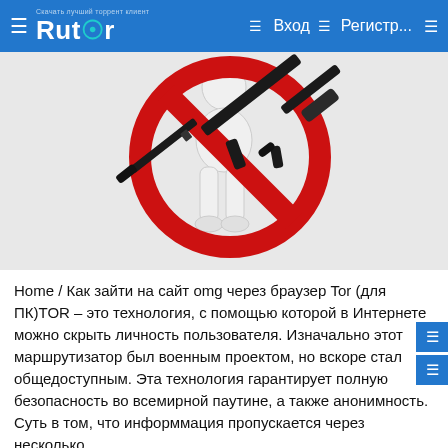Rutor — Вход   Регистр...
[Figure (illustration): A 3D white cartoon figure standing behind a large red prohibition/no sign (circle with diagonal bar), with a black assault rifle (AK-style) overlaid across the sign, symbolizing weapons prohibition.]
Home / Как зайти на сайт omg через браузер Tor (для ПК)TOR – это технология, с помощью которой в Интернете можно скрыть личность пользователя. Изначально этот маршрутизатор был военным проектом, но вскоре стал общедоступным. Эта технология гарантирует полную безопасность во всемирной паутине, а также анонимность. Суть в том, что информмация пропускается через несколько